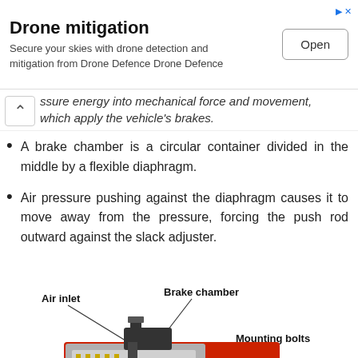[Figure (infographic): Advertisement banner: 'Drone mitigation' with text 'Secure your skies with drone detection and mitigation from Drone Defence Drone Defence' and an 'Open' button]
ssure energy into mechanical force and movement, which apply the vehicle's brakes.
A brake chamber is a circular container divided in the middle by a flexible diaphragm.
Air pressure pushing against the diaphragm causes it to move away from the pressure, forcing the push rod outward against the slack adjuster.
[Figure (engineering-diagram): Cross-section diagram of a brake chamber assembly showing: Air inlet (labeled with arrow), Brake chamber (labeled with arrow), Mounting bolts (labeled with arrow), Clevis and pin (labeled with arrow), and Slack (partially visible). The diagram shows a red-cased cylindrical device with internal components.]